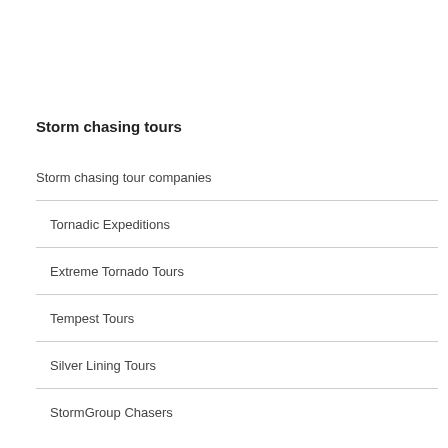Storm chasing tours
Storm chasing tour companies
Tornadic Expeditions
Extreme Tornado Tours
Tempest Tours
Silver Lining Tours
StormGroup Chasers